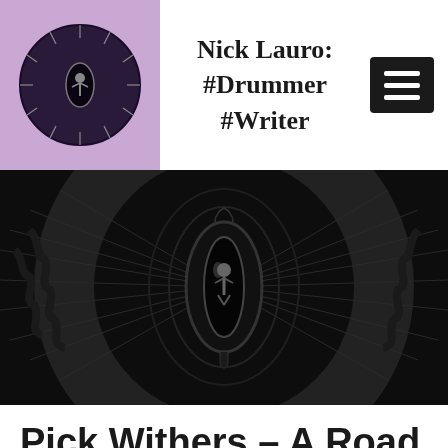Nick Lauro: #Drummer #Writer
[Figure (photo): Dark black and white close-up photo of what appears to be a reptilian eye or drum, with concentric circular patterns and a figure visible in the reflection]
Pick Withers – A Road Well Travelled – (A Drumdoctor Interview)